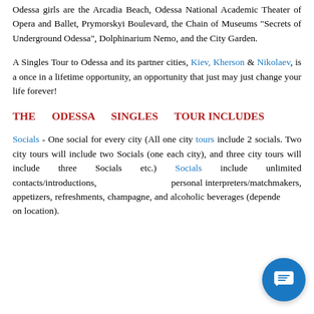Odessa girls are the Arcadia Beach, Odessa National Academic Theater of Opera and Ballet, Prymorskyi Boulevard, the Chain of Museums "Secrets of Underground Odessa", Dolphinarium Nemo, and the City Garden.
A Singles Tour to Odessa and its partner cities, Kiev, Kherson & Nikolaev, is a once in a lifetime opportunity, an opportunity that just may just change your life forever!
THE ODESSA SINGLES TOUR INCLUDES
Socials - One social for every city (All one city tours include 2 socials. Two city tours will include two Socials (one each city), and three city tours will include three Socials etc.) Socials include unlimited contacts/introductions, personal interpreters/matchmakers, appetizers, refreshments, champagne, and alcoholic beverages (depending on location).